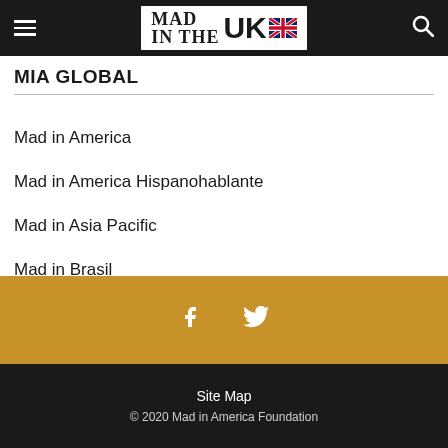MAD IN THE UK
MIA GLOBAL
Mad in America
Mad in America Hispanohablante
Mad in Asia Pacific
Mad in Brasil
Mad in Finland
[Figure (other): Social media icons (Facebook and Twitter) on gold background]
Site Map
© 2020 Mad in America Foundation